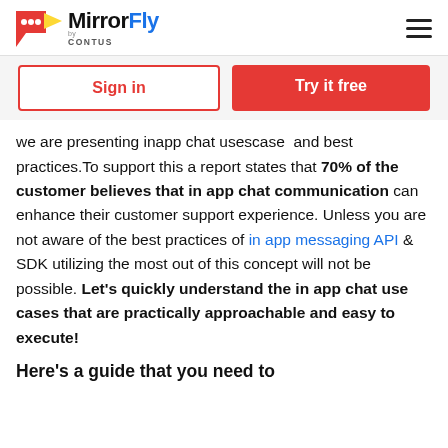MirrorFly by CONTUS
Sign in | Try it free
we are presenting inapp chat usescase  and best practices.To support this a report states that 70% of the customer believes that in app chat communication can enhance their customer support experience. Unless you are not aware of the best practices of in app messaging API & SDK utilizing the most out of this concept will not be possible. Let's quickly understand the in app chat use cases that are practically approachable and easy to execute!
Here's a guide that you need to